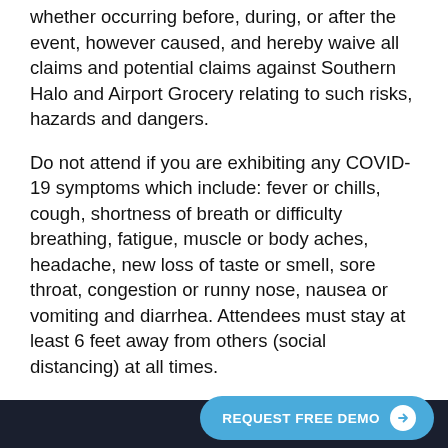whether occurring before, during, or after the event, however caused, and hereby waive all claims and potential claims against Southern Halo and Airport Grocery relating to such risks, hazards and dangers.
Do not attend if you are exhibiting any COVID-19 symptoms which include: fever or chills, cough, shortness of breath or difficulty breathing, fatigue, muscle or body aches, headache, new loss of taste or smell, sore throat, congestion or runny nose, nausea or vomiting and diarrhea. Attendees must stay at least 6 feet away from others (social distancing) at all times.
REQUEST FREE DEMO